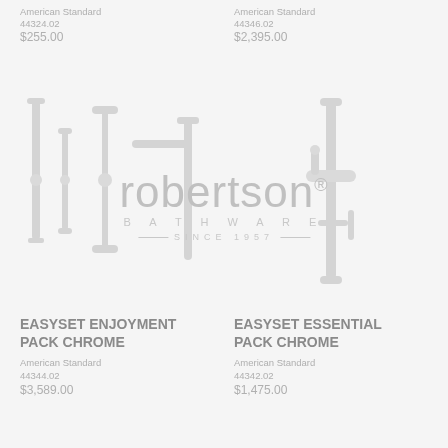American Standard
44324.02
$255.00
American Standard
44346.02
$2,395.00
[Figure (logo): Robertson Bathware logo watermark with text 'robertson® BATHWARE SINCE 1957']
[Figure (photo): Shower/bathroom fixture product image left column]
[Figure (photo): Shower/bathroom fixture product image right column]
EASYSET ENJOYMENT PACK CHROME
American Standard
44344.02
$3,589.00
EASYSET ESSENTIAL PACK CHROME
American Standard
44342.02
$1,475.00